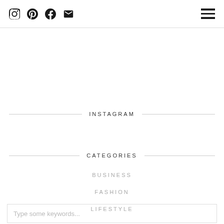Social icons: Instagram, Pinterest, Facebook, Email; Hamburger menu
INSTAGRAM
CATEGORIES
BUSINESS
FASHION
LIFESTYLE
Type some keywords...